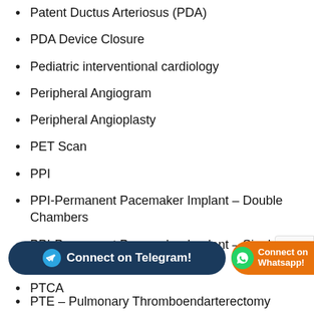Patent Ductus Arteriosus (PDA)
PDA Device Closure
Pediatric interventional cardiology
Peripheral Angiogram
Peripheral Angioplasty
PET Scan
PPI
PPI-Permanent Pacemaker Implant – Double Chambers
PPI-Permanent Pacemaker Implant – Single Chamber
PTCA
PTE – Pulmonary Thromboendarterectomy